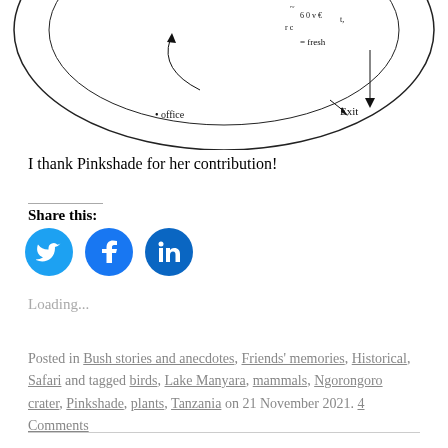[Figure (illustration): Partial hand-drawn sketch showing a circular diagram with handwritten labels including 'office', 'exit', 'fresh', and other annotations with arrows. Only the bottom portion of the sketch is visible.]
I thank Pinkshade for her contribution!
Share this:
[Figure (infographic): Three social media share buttons: Twitter (bird icon, blue circle), Facebook (f icon, blue circle), LinkedIn (in icon, dark blue circle)]
Loading...
Posted in Bush stories and anecdotes, Friends' memories, Historical, Safari and tagged birds, Lake Manyara, mammals, Ngorongoro crater, Pinkshade, plants, Tanzania on 21 November 2021. 4 Comments